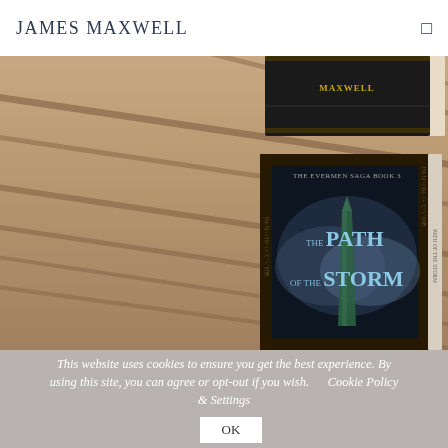James Maxwell
[Figure (photo): Book covers of 'The Path of the Storm – The Evermen Saga Book 3' by James Maxwell displayed against a sandy desert background with shadow lines. Two book copies are visible; the main one shows the title 'THE PATH OF THE STORM' in stylized text with a green monument or obelisk and stormy sky imagery on the cover.]
This website uses cookies to ensure you get the best experience. By using this site, you can agree or opt-out if you wish.      Cookie Policy & Settings      OK